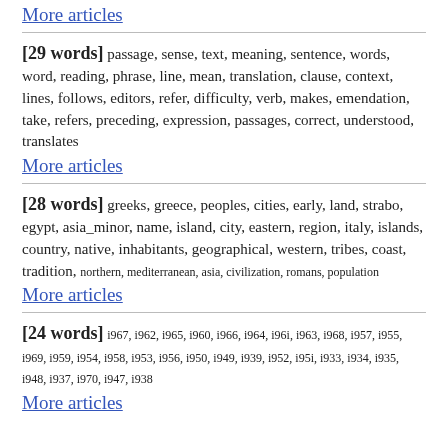More articles
[29 words] passage, sense, text, meaning, sentence, words, word, reading, phrase, line, mean, translation, clause, context, lines, follows, editors, refer, difficulty, verb, makes, emendation, take, refers, preceding, expression, passages, correct, understood, translates
More articles
[28 words] greeks, greece, peoples, cities, early, land, strabo, egypt, asia_minor, name, island, city, eastern, region, italy, islands, country, native, inhabitants, geographical, western, tribes, coast, tradition, northern, mediterranean, asia, civilization, romans, population
More articles
[24 words] i967, i962, i965, i960, i966, i964, i96i, i963, i968, i957, i955, i969, i959, i954, i958, i953, i956, i950, i949, i939, i952, i95i, i933, i934, i935, i948, i937, i970, i947, i938
More articles